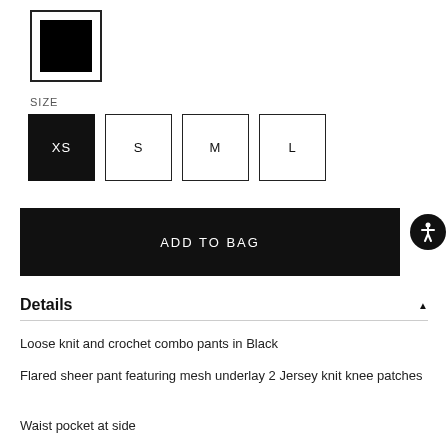[Figure (other): Black color swatch in a square border]
SIZE
[Figure (other): Size selector buttons: XS (selected/black), S, M, L]
[Figure (other): ADD TO BAG black button]
Details
Loose knit and crochet combo pants in Black
Flared sheer pant featuring mesh underlay 2 Jersey knit knee patches
Waist pocket at side